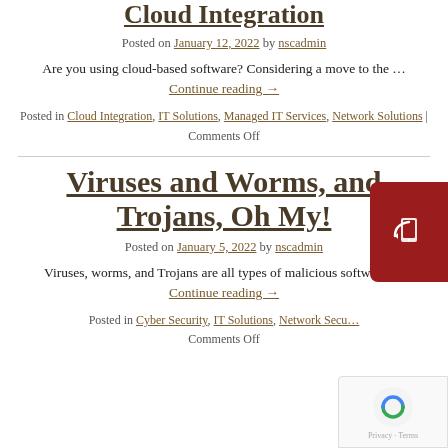Cloud Integration
Posted on January 12, 2022 by nscadmin
Are you using cloud-based software? Considering a move to the … Continue reading →
Posted in Cloud Integration, IT Solutions, Managed IT Services, Network Solutions | Comments Off
Viruses and Worms, and Trojans, Oh My!
Posted on January 5, 2022 by nscadmin
Viruses, worms, and Trojans are all types of malicious software … Continue reading →
Posted in Cyber Security, IT Solutions, Network Security | Comments Off